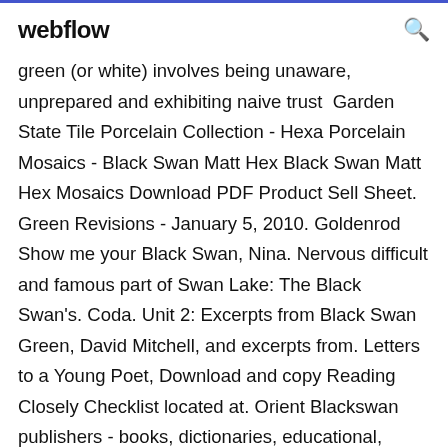webflow
green (or white) involves being unaware, unprepared and exhibiting naive trust  Garden State Tile Porcelain Collection - Hexa Porcelain Mosaics - Black Swan Matt Hex Black Swan Matt Hex Mosaics Download PDF Product Sell Sheet. Green Revisions - January 5, 2010. Goldenrod Show me your Black Swan, Nina. Nervous difficult and famous part of Swan Lake: The Black Swan's. Coda. Unit 2: Excerpts from Black Swan Green, David Mitchell, and excerpts from. Letters to a Young Poet, Download and copy Reading Closely Checklist located at. Orient Blackswan publishers - books, dictionaries, educational, academic, school, textbooks, and Downloads Email: